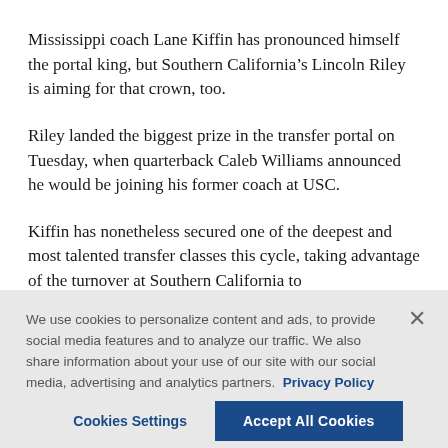Mississippi coach Lane Kiffin has pronounced himself the portal king, but Southern California’s Lincoln Riley is aiming for that crown, too.
Riley landed the biggest prize in the transfer portal on Tuesday, when quarterback Caleb Williams announced he would be joining his former coach at USC.
Kiffin has nonetheless secured one of the deepest and most talented transfer classes this cycle, taking advantage of the turnover at Southern California to
We use cookies to personalize content and ads, to provide social media features and to analyze our traffic. We also share information about your use of our site with our social media, advertising and analytics partners. Privacy Policy
Cookies Settings
Accept All Cookies